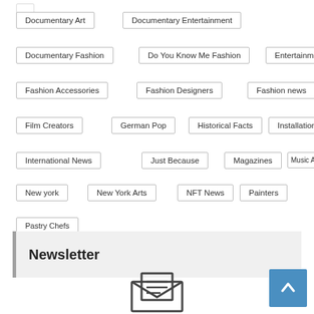Documentary Art
Documentary Entertainment
Documentary Fashion
Do You Know Me Fashion
Entertainment
Fashion Accessories
Fashion Designers
Fashion news
Film Creators
German Pop
Historical Facts
Installation
International News
Just Because
Magazines
Music Artists
New york
New York Arts
NFT News
Painters
Paris
Pastry Chefs
POP
Quizzes
Scene
Scene News
Uncategorized
Visual
Newsletter
[Figure (illustration): Envelope/newsletter icon at bottom center]
[Figure (illustration): Scroll-to-top button, blue square with up arrow, bottom right]